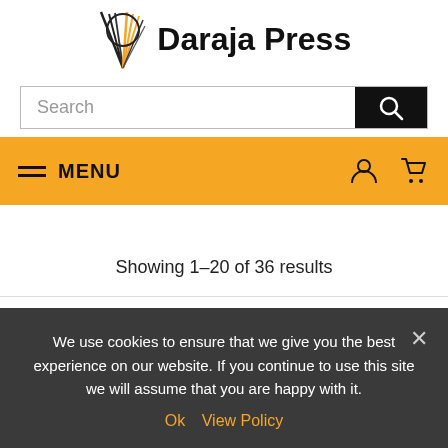[Figure (logo): Daraja Press logo with stylized feather/quill icon and bold text 'Daraja Press']
[Figure (screenshot): Search input bar with magnifying glass icon button on the right]
[Figure (screenshot): Orange navigation bar with hamburger menu icon, MENU text, user icon, and cart icon]
Showing 1–20 of 36 results
Sort by latest
We use cookies to ensure that we give you the best experience on our website. If you continue to use this site we will assume that you are happy with it.
Ok  View Policy